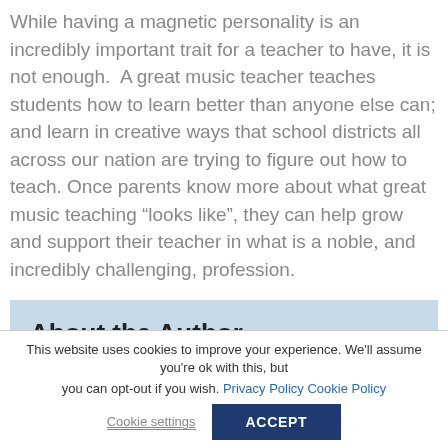While having a magnetic personality is an incredibly important trait for a teacher to have, it is not enough. A great music teacher teaches students how to learn better than anyone else can; and learn in creative ways that school districts all across our nation are trying to figure out how to teach. Once parents know more about what great music teaching “looks like”, they can help grow and support their teacher in what is a noble, and incredibly challenging, profession.
About the Author
This website uses cookies to improve your experience. We’ll assume you’re ok with this, but you can opt-out if you wish. Privacy Policy Cookie Policy